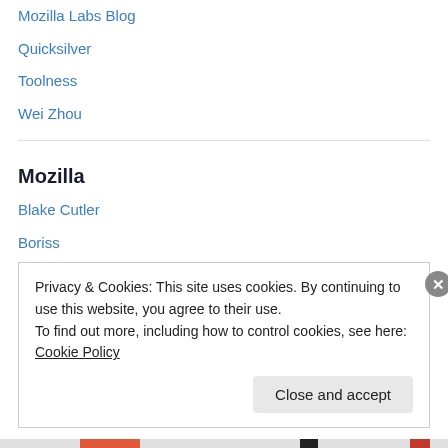Mozilla Labs Blog
Quicksilver
Toolness
Wei Zhou
Mozilla
Blake Cutler
Boriss
Mozilla Labs Blog
Planet Labs Feed
Privacy & Cookies: This site uses cookies. By continuing to use this website, you agree to their use. To find out more, including how to control cookies, see here: Cookie Policy